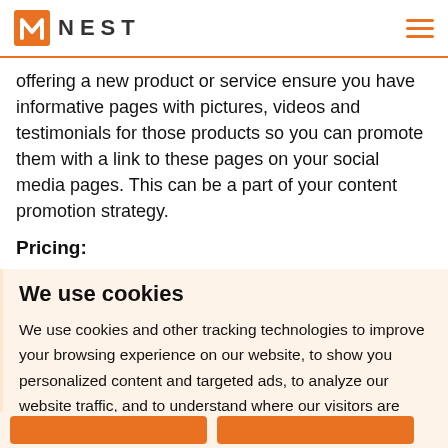NEST
offering a new product or service ensure you have informative pages with pictures, videos and testimonials for those products so you can promote them with a link to these pages on your social media pages. This can be a part of your content promotion strategy.
Pricing:
We use cookies
We use cookies and other tracking technologies to improve your browsing experience on our website, to show you personalized content and targeted ads, to analyze our website traffic, and to understand where our visitors are coming from.